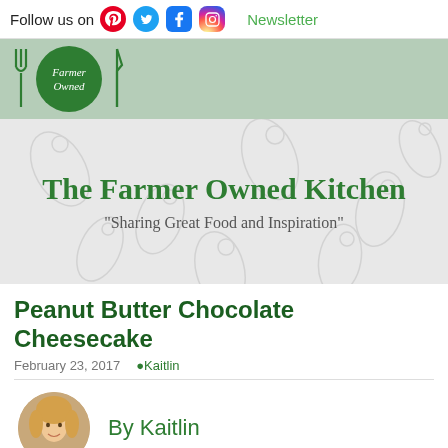Follow us on  Newsletter
[Figure (logo): Farmer Owned logo with fork, plate and knife icons on green band]
The Farmer Owned Kitchen
"Sharing Great Food and Inspiration"
Peanut Butter Chocolate Cheesecake
February 23, 2017   Kaitlin
[Figure (photo): Circular portrait photo of Kaitlin, a woman with blonde hair]
By Kaitlin